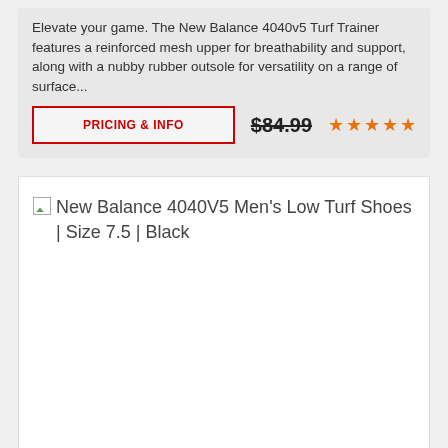Elevate your game. The New Balance 4040v5 Turf Trainer features a reinforced mesh upper for breathability and support, along with a nubby rubber outsole for versatility on a range of surface...
PRICING & INFO
$84.99
[Figure (other): Broken image placeholder for New Balance 4040V5 Men's Low Turf Shoes | Size 7.5 | Black]
New Balance 4040V5 Men's Low Turf Shoes | Size 7.5 | Black